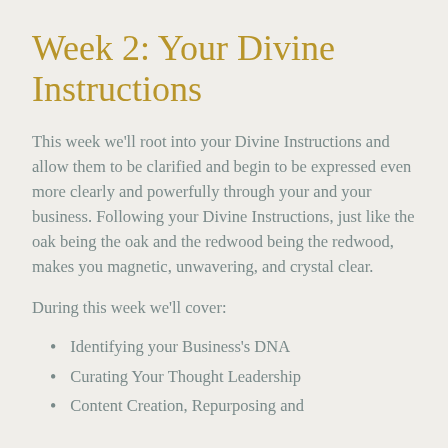Week 2: Your Divine Instructions
This week we'll root into your Divine Instructions and allow them to be clarified and begin to be expressed even more clearly and powerfully through your and your business. Following your Divine Instructions, just like the oak being the oak and the redwood being the redwood, makes you magnetic, unwavering, and crystal clear.
During this week we'll cover:
Identifying your Business's DNA
Curating Your Thought Leadership
Content Creation, Repurposing and